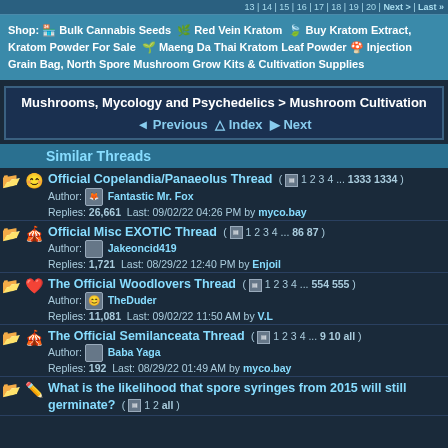13 | 14 | 15 | 16 | 17 | 18 | 19 | 20 | Next > | Last »
Shop: 🏪 Bulk Cannabis Seeds 🌿 Red Vein Kratom 🍃 Buy Kratom Extract, Kratom Powder For Sale 🌱 Maeng Da Thai Kratom Leaf Powder 🍄 Injection Grain Bag, North Spore Mushroom Grow Kits & Cultivation Supplies
Mushrooms, Mycology and Psychedelics > Mushroom Cultivation
◄ Previous △ Index ▶ Next
Similar Threads
Official Copelandia/Panaeolus Thread ( 📋 1 2 3 4 ... 1333 1334 )
Author: Fantastic Mr. Fox
Replies: 26,661  Last: 09/02/22 04:26 PM by myco.bay
Official Misc EXOTIC Thread ( 📋 1 2 3 4 ... 86 87 )
Author: Jakeoncid419
Replies: 1,721  Last: 08/29/22 12:40 PM by Enjoil
The Official Woodlovers Thread ( 📋 1 2 3 4 ... 554 555 )
Author: TheDuder
Replies: 11,081  Last: 09/02/22 11:50 AM by V.L
The Official Semilanceata Thread ( 📋 1 2 3 4 ... 9 10 all )
Author: Baba Yaga
Replies: 192  Last: 08/29/22 01:49 AM by myco.bay
What is the likelihood that spore syringes from 2015 will still germinate? ( 📋 1 2 all )